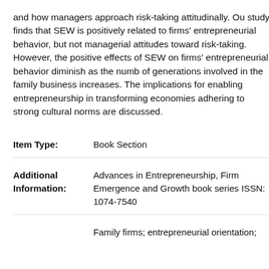and how managers approach risk-taking attitudinally. Our study finds that SEW is positively related to firms' entrepreneurial behavior, but not managerial attitudes toward risk-taking. However, the positive effects of SEW on firms' entrepreneurial behavior diminish as the number of generations involved in the family business increases. The implications for enabling entrepreneurship in transforming economies adhering to strong cultural norms are discussed.
Item Type: Book Section
Additional Information: Advances in Entrepreneurship, Firm Emergence and Growth book series ISSN: 1074-7540
Family firms; entrepreneurial orientation;